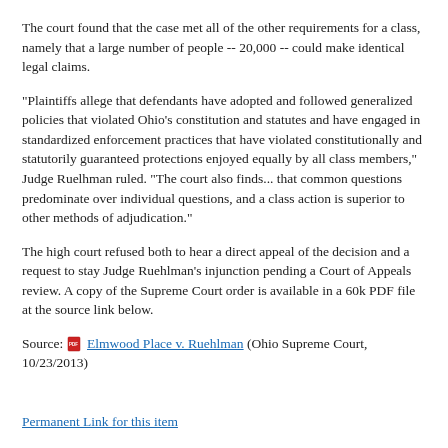The court found that the case met all of the other requirements for a class, namely that a large number of people -- 20,000 -- could make identical legal claims.
"Plaintiffs allege that defendants have adopted and followed generalized policies that violated Ohio's constitution and statutes and have engaged in standardized enforcement practices that have violated constitutionally and statutorily guaranteed protections enjoyed equally by all class members," Judge Ruelhman ruled. "The court also finds... that common questions predominate over individual questions, and a class action is superior to other methods of adjudication."
The high court refused both to hear a direct appeal of the decision and a request to stay Judge Ruehlman's injunction pending a Court of Appeals review. A copy of the Supreme Court order is available in a 60k PDF file at the source link below.
Source: [PDF icon] Elmwood Place v. Ruehlman (Ohio Supreme Court, 10/23/2013)
Permanent Link for this item